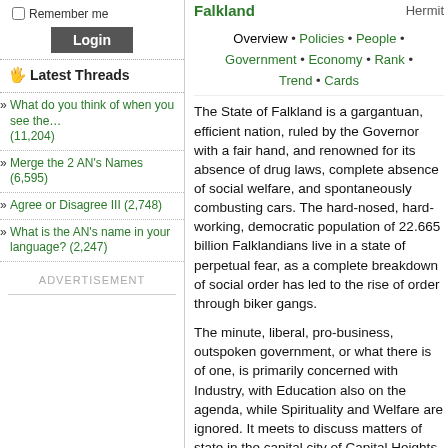Remember me
Login
Latest Threads
What do you think of when you see the… (11,204)
Merge the 2 AN's Names (6,595)
Agree or Disagree III (2,748)
What is the AN's name in your language? (2,247)
ADVERTISEMENT
Falkland   Hermit
Overview • Policies • People • Government • Economy • Rank • Trend • Cards
The State of Falkland is a gargantuan, efficient nation, ruled by the Governor with a fair hand, and renowned for its absence of drug laws, complete absence of social welfare, and spontaneously combusting cars. The hard-nosed, hard-working, democratic population of 22.665 billion Falklandians live in a state of perpetual fear, as a complete breakdown of social order has led to the rise of order through biker gangs.
The minute, liberal, pro-business, outspoken government, or what there is of one, is primarily concerned with Industry, with Education also on the agenda, while Spirituality and Welfare are ignored. It meets to discuss matters of state in the capital city of Capital Heights. Citizens pay a flat income tax of 5.6%.
The very strong Falklandian economy, worth 865 trillion hotales a year, is